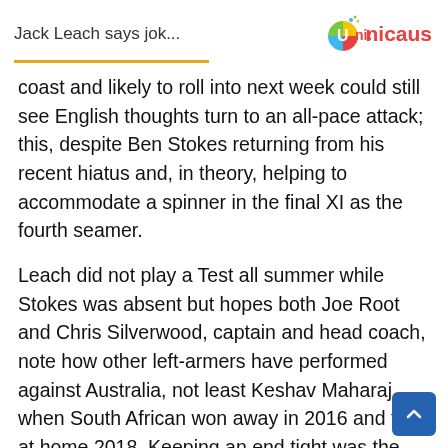Jack Leach says jok...
[Figure (logo): Unicaus colorful logo with circular icon and brand name]
coast and likely to roll into next week could still see English thoughts turn to an all-pace attack; this, despite Ben Stokes returning from his recent hiatus and, in theory, helping to accommodate a spinner in the final XI as the fourth seamer.
Leach did not play a Test all summer while Stokes was absent but hopes both Joe Root and Chris Silverwood, captain and head coach, note how other left-armers have performed against Australia, not least Keshav Maharaj when South African won away in 2016 and then at home 2018. Keeping an end tight was the primary role, but Maharaj also accounted for Steve Smith three times among his 11